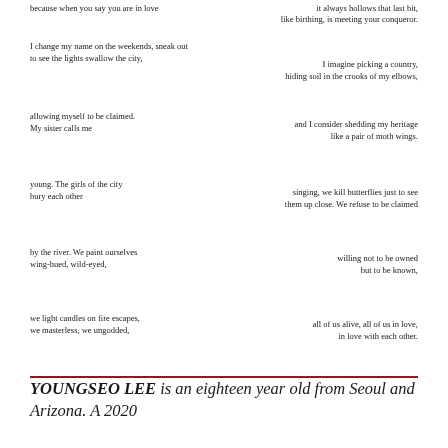because when you say you are in love  it always hollows that last bit,
like birthing, is meeting your conqueror.
I change my name on the weekends, sneak out
to see the lights swallow the city,

I imagine picking a country,
hiding soil in the crooks of my elbows,
allowing myself to be claimed.
My sister calls me

and I consider shedding my heritage
like a pair of moth wings.
young. The girls of the city
bury each other

singling, we kill butterflies just to see
them up close. We refuse to be claimed
by the river. We paint ourselves
wing-hued, wild-eyed,

willing not to be owned
but to be known,
we light candles on fire escapes,
we masterless, we ungodded,

all of us alive, all of us in love,
in love with each other.
YOUNGSEO LEE is an eighteen year old from Seoul and Arizona. A 2020